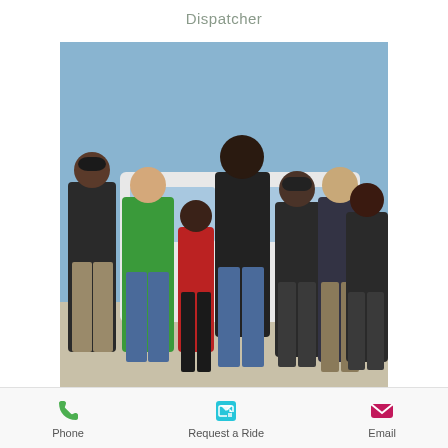Dispatcher
[Figure (photo): Group photo of seven people standing in front of a white vehicle outdoors. They are dressed in various uniforms including black polo shirts, a green polo shirt, and a red shirt.]
HAPPY CLIENTS
Phone
Request a Ride
Email